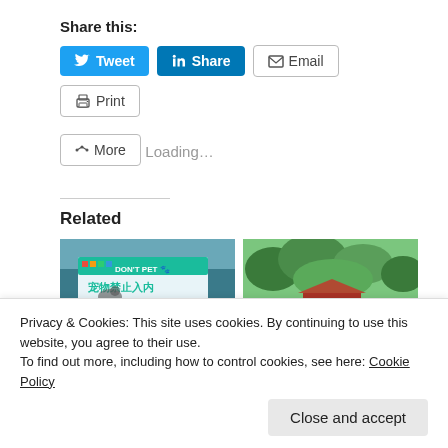Share this:
[Figure (screenshot): Social share buttons: Tweet (Twitter, blue), Share (LinkedIn, blue), Email (outline with mail icon), Print (outline with printer icon)]
[Figure (screenshot): More button with share icon]
Loading...
Related
[Figure (photo): Photo of a sign that reads DON'T PET with Chinese text 宠物禁止入内]
[Figure (photo): Photo of a garden with traditional Chinese architecture, red bridge, lush green foliage and flowers]
in China
Privacy & Cookies: This site uses cookies. By continuing to use this website, you agree to their use.
To find out more, including how to control cookies, see here: Cookie Policy
Close and accept